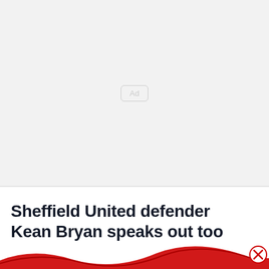[Figure (other): Advertisement placeholder box with 'Ad' label centered in a light gray area]
Sheffield United defender Kean Bryan speaks out too
[Figure (other): Red decorative swoosh/wave graphic at bottom with a circular close button on the right]